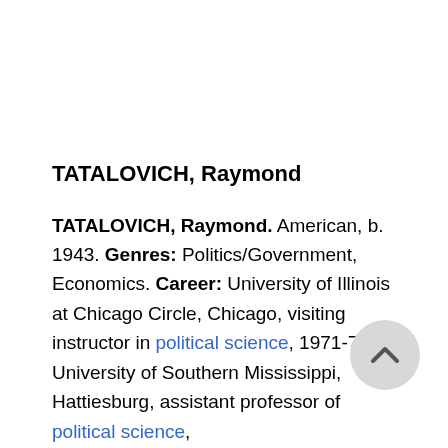TATALOVICH, Raymond
TATALOVICH, Raymond. American, b. 1943. Genres: Politics/Government, Economics. Career: University of Illinois at Chicago Circle, Chicago, visiting instructor in political science, 1971-72; University of Southern Mississippi, Hattiesburg, assistant professor of political science,